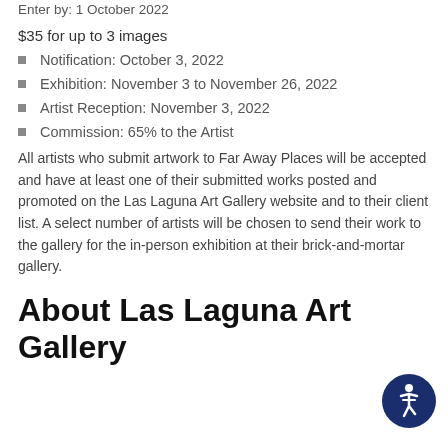Enter by: 1 October 2022
$35 for up to 3 images
Notification: October 3, 2022
Exhibition: November 3 to November 26, 2022
Artist Reception: November 3, 2022
Commission: 65% to the Artist
All artists who submit artwork to Far Away Places will be accepted and have at least one of their submitted works posted and promoted on the Las Laguna Art Gallery website and to their client list. A select number of artists will be chosen to send their work to the gallery for the in-person exhibition at their brick-and-mortar gallery.
About Las Laguna Art Gallery